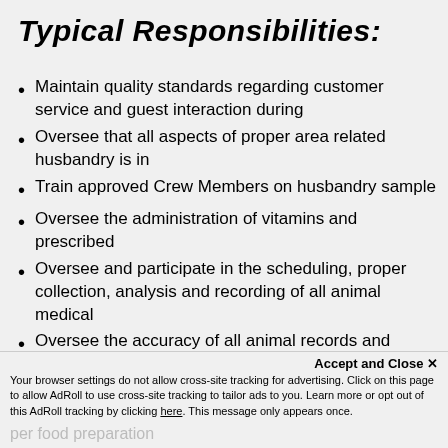Typical Responsibilities:
Maintain quality standards regarding customer service and guest interaction during
Oversee that all aspects of proper area related husbandry is in
Train approved Crew Members on husbandry sample
Oversee the administration of vitamins and prescribed
Oversee and participate in the scheduling, proper collection, analysis and recording of all animal medical
Oversee the accuracy of all animal records and
Assist with the coordination and execution of
medical
Accept and Close ×
Your browser settings do not allow cross-site tracking for advertising. Click on this page to allow AdRoll to use cross-site tracking to tailor ads to you. Learn more or opt out of this AdRoll tracking by clicking here. This message only appears once.
per food preparation